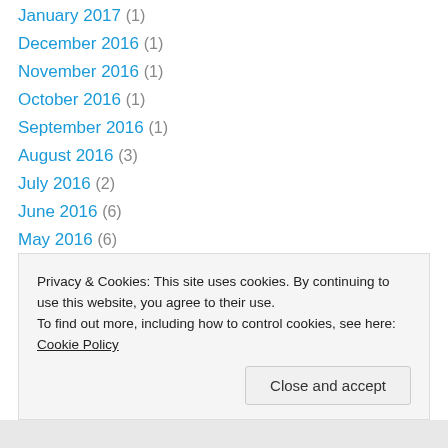January 2017 (1)
December 2016 (1)
November 2016 (1)
October 2016 (1)
September 2016 (1)
August 2016 (3)
July 2016 (2)
June 2016 (6)
May 2016 (6)
April 2016 (5)
March 2016 (2)
February 2016 (2)
January 2016 (1)
October 2015 (1)
Privacy & Cookies: This site uses cookies. By continuing to use this website, you agree to their use. To find out more, including how to control cookies, see here: Cookie Policy